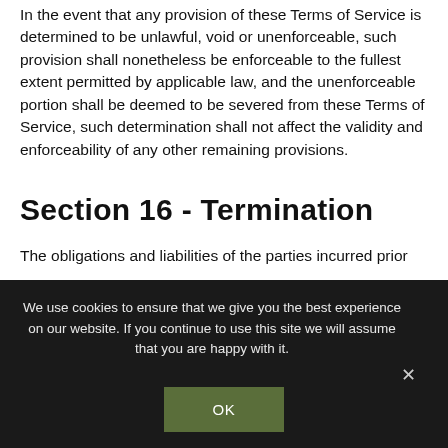In the event that any provision of these Terms of Service is determined to be unlawful, void or unenforceable, such provision shall nonetheless be enforceable to the fullest extent permitted by applicable law, and the unenforceable portion shall be deemed to be severed from these Terms of Service, such determination shall not affect the validity and enforceability of any other remaining provisions.
Section 16 - Termination
The obligations and liabilities of the parties incurred prior
We use cookies to ensure that we give you the best experience on our website. If you continue to use this site we will assume that you are happy with it.